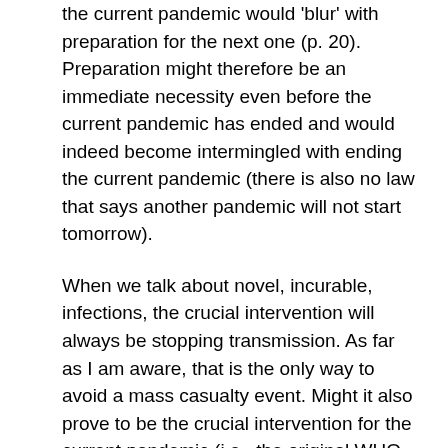the current pandemic would 'blur' with preparation for the next one (p. 20). Preparation might therefore be an immediate necessity even before the current pandemic has ended and would indeed become intermingled with ending the current pandemic (there is also no law that says another pandemic will not start tomorrow).
When we talk about novel, incurable, infections, the crucial intervention will always be stopping transmission. As far as I am aware, that is the only way to avoid a mass casualty event. Might it also prove to be the crucial intervention for the current pandemic (i.e., the original WHO goal remains the correct one)?
Stopping transmission is, in my view, the most interesting framing from the perspective of science policy. It is a test of bureaucratic power and, it seems